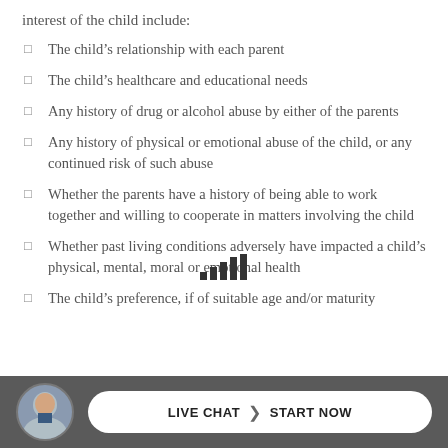interest of the child include:
The child's relationship with each parent
The child's healthcare and educational needs
Any history of drug or alcohol abuse by either of the parents
Any history of physical or emotional abuse of the child, or any continued risk of such abuse
Whether the parents have a history of being able to work together and willing to cooperate in matters involving the child
Whether past living conditions adversely have impacted a child's physical, mental, moral or emotional health
The child's preference, if of suitable age and/or maturity
[Figure (other): Signal/bar strength icon graphic overlaid in center of page]
LIVE CHAT | START NOW